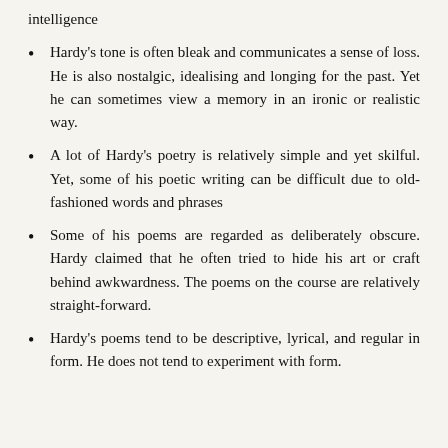intelligence
Hardy's tone is often bleak and communicates a sense of loss. He is also nostalgic, idealising and longing for the past. Yet he can sometimes view a memory in an ironic or realistic way.
A lot of Hardy's poetry is relatively simple and yet skilful. Yet, some of his poetic writing can be difficult due to old-fashioned words and phrases
Some of his poems are regarded as deliberately obscure. Hardy claimed that he often tried to hide his art or craft behind awkwardness. The poems on the course are relatively straight-forward.
Hardy's poems tend to be descriptive, lyrical, and regular in form. He does not tend to experiment with form.